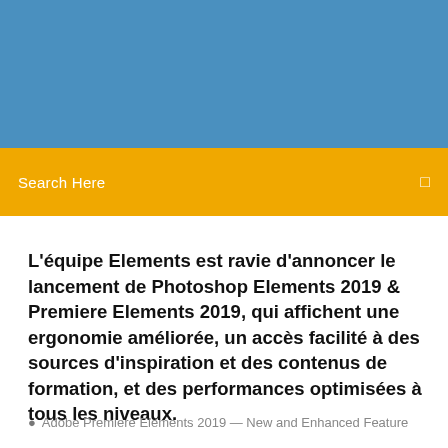[Figure (photo): Blue banner/header image area at the top of the page]
Search Here
L'équipe Elements est ravie d'annoncer le lancement de Photoshop Elements 2019 & Premiere Elements 2019, qui affichent une ergonomie améliorée, un accès facilité à des sources d'inspiration et des contenus de formation, et des performances optimisées à tous les niveaux.
Adobe Premiere Elements 2019 — New and Enhanced Feature